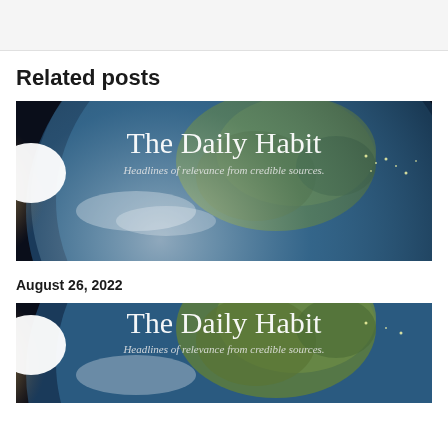Related posts
[Figure (illustration): The Daily Habit banner image showing Earth from space with North America visible and a sunrise glow on the left. Text reads 'The Daily Habit' and 'Headlines of relevance from credible sources.']
August 26, 2022
[Figure (illustration): Second The Daily Habit banner image, same as above — Earth from space showing North America with sunrise glow. Text reads 'The Daily Habit' and 'Headlines of relevance from credible sources.']